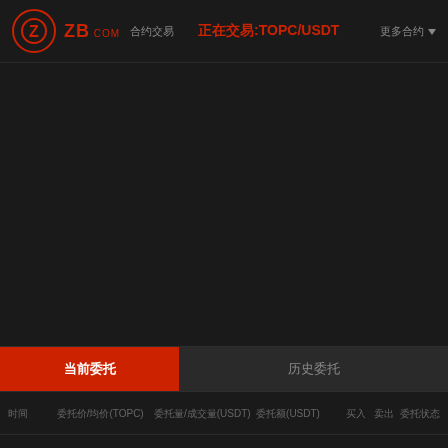ZB COM 合约交易 正在交易:TOPC/USDT 更多合约
[Figure (screenshot): Empty dark chart area for TOPC/USDT trading pair on ZB.com cryptocurrency exchange]
当前委托 | 历史委托
| 时间 | 委托价/均价(TOPC) | 委托量/成交量(USDT) | 委托额(USDT) | 买入 | 卖出 | 委托状态 |
| --- | --- | --- | --- | --- | --- | --- |